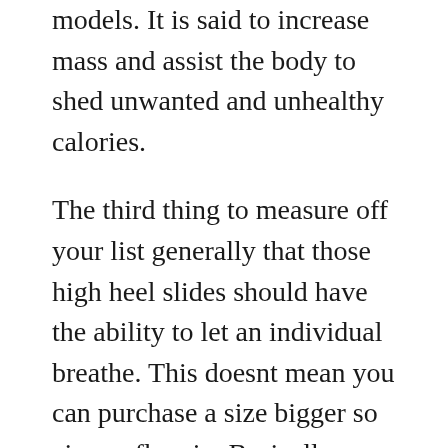models. It is said to increase mass and assist the body to shed unwanted and unhealthy calories.
The third thing to measure off your list generally that those high heel slides should have the ability to let an individual breathe. This doesnt mean you can purchase a size bigger so air can flow in. Basically, you need to look for high heels in which made of a material that lets air pass in and out. To give you an overall idea, plastic is the worst kind and leather the proper kind.
Diet – what you eat has the impact on hormone production as well as about your overall health care. Calcium helps bone growth